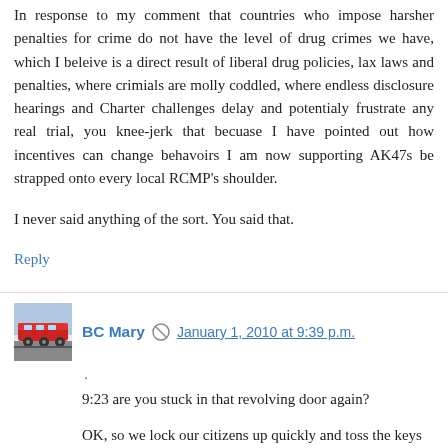In response to my comment that countries who impose harsher penalties for crime do not have the level of drug crimes we have, which I beleive is a direct result of liberal drug policies, lax laws and penalties, where crimials are molly coddled, where endless disclosure hearings and Charter challenges delay and potentialy frustrate any real trial, you knee-jerk that becuase I have pointed out how incentives can change behavoirs I am now supporting AK47s be strapped onto every local RCMP's shoulder.
I never said anything of the sort. You said that.
Reply
BC Mary
January 1, 2010 at 9:39 p.m.
.
9:23 are you stuck in that revolving door again?
OK, so we lock our citizens up quickly and toss the keys to somebody from China or India, is that how it goes?
At a discount of 1/2 the usual price, we can expect these